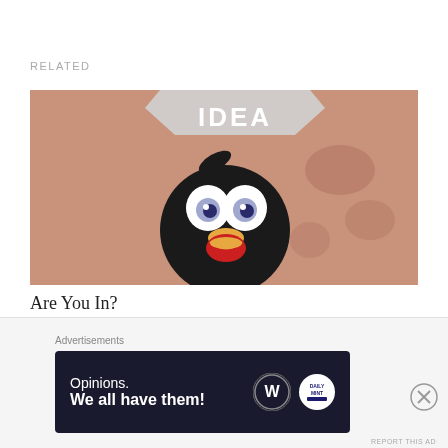RELATED
[Figure (illustration): Animated cartoon bird character with big eyes and open beak, standing in front of a sign that reads 'IDEA' — colorful animated still]
Are You In?
Feb 24, 2021
Apologies Accepted?
Advertisements
[Figure (screenshot): Advertisement banner: dark background with text 'Opinions. We all have them!' with WordPress logo and another logo on the right]